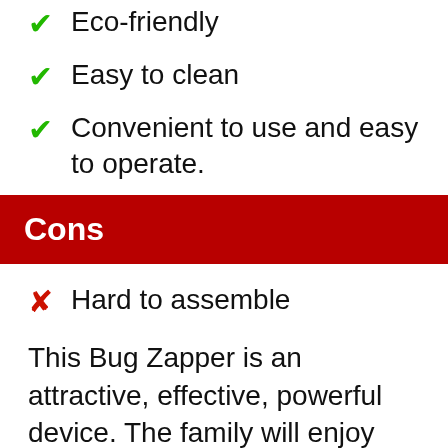Eco-friendly
Easy to clean
Convenient to use and easy to operate.
Cons
Hard to assemble
This Bug Zapper is an attractive, effective, powerful device. The family will enjoy their event in the presence of this decorative lantern electric lamp. It